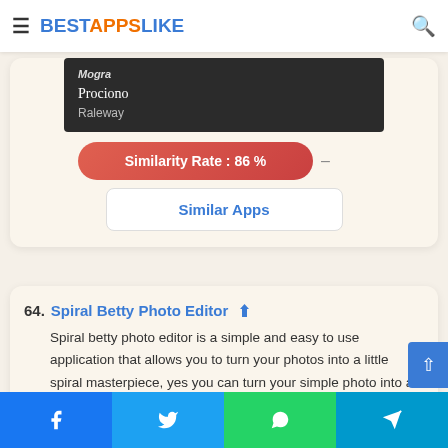BESTAPPSLIKE
[Figure (screenshot): Dark panel showing a font list with Mogra, Prociono, and Raleway font names]
Similarity Rate : 86 %
Similar Apps
64. Spiral Betty Photo Editor
Spiral betty photo editor is a simple and easy to use application that allows you to turn your photos into a little spiral masterpiece, yes you can turn your simple photo into a homemade
Social share bar: Facebook, Twitter, WhatsApp, Telegram